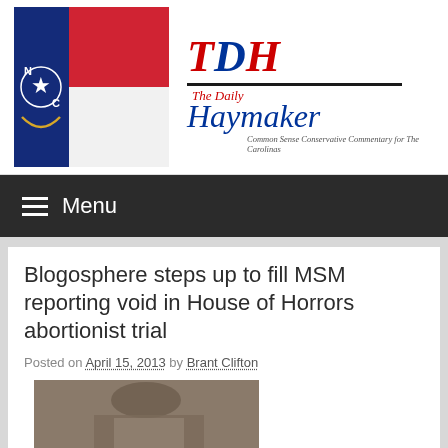[Figure (photo): North Carolina state flag photo on left side of header]
[Figure (logo): The Daily Haymaker logo with TDH initials in red and blue, italic script 'The Daily Haymaker', tagline 'Common Sense Conservative Commentary for The Carolinas']
≡ Menu
Blogosphere steps up to fill MSM reporting void in House of Horrors abortionist trial
Posted on April 15, 2013 by Brant Clifton
[Figure (photo): Partial photo of a person at bottom of page, cropped]